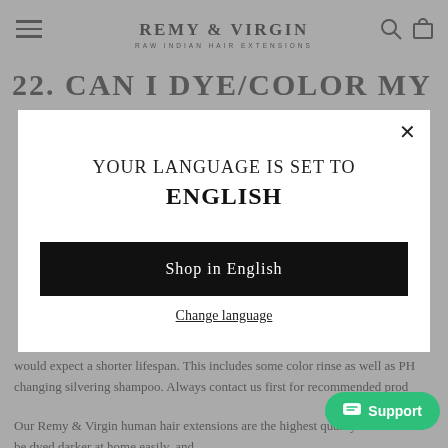REMY & VIRGIN RAW INDIAN HAIR EXTENSIONS
22. CAN I DYE/COLOR MY HAIR
[Figure (screenshot): Language selection modal overlay on a website. Modal contains text 'YOUR LANGUAGE IS SET TO ENGLISH', a black 'Shop in English' button, and a 'Change language' link. A close (X) button is in the top-right of the modal.]
would expect a shorter lifespan. This includes some color rinse as well as PH changing silvering shampoo. Always contact us first for recommended prod
Our Remy & Virgin human hair extensions are the highest quality hair that can be dyed darker at home easily, and
[Figure (other): Green Support chat button in the bottom-right corner]